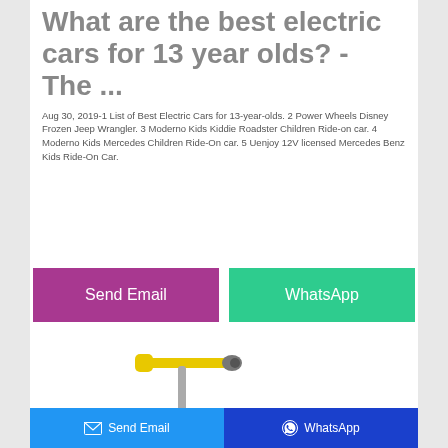What are the best electric cars for 13 year olds? - The ...
Aug 30, 2019-1 List of Best Electric Cars for 13-year-olds. 2 Power Wheels Disney Frozen Jeep Wrangler. 3 Moderno Kids Kiddie Roadster Children Ride-on car. 4 Moderno Kids Mercedes Children Ride-On car. 5 Uenjoy 12V licensed Mercedes Benz Kids Ride-On Car.
[Figure (other): Two buttons: 'Send Email' (purple/magenta) and 'WhatsApp' (green teal)]
[Figure (photo): Yellow kick scooter / pogo stick toy product image]
Send Email   WhatsApp